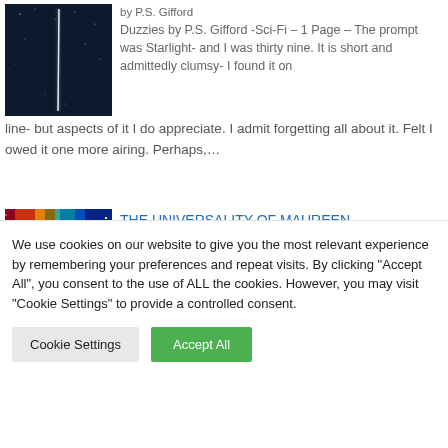by P.S. Gifford
[Figure (photo): A dark night sky with a bright vertical light streak (rocket or meteor trail) against a deep blue background]
Duzzies by P.S. Gifford -Sci-Fi – 1 Page – The prompt was Starlight- and I was thirty nine. It is short and admittedly clumsy- I found it on line- but aspects of it I do appreciate. I admit forgetting all about it. Felt I owed it one more airing. Perhaps,…
[Figure (photo): A colorful digital/tech themed image with an arch shape and bright multicolored lights suggesting a data or technology concept]
THE UNIVERSALITY OF MAUREEN
by AndrewSyers
We use cookies on our website to give you the most relevant experience by remembering your preferences and repeat visits. By clicking "Accept All", you consent to the use of ALL the cookies. However, you may visit "Cookie Settings" to provide a controlled consent.